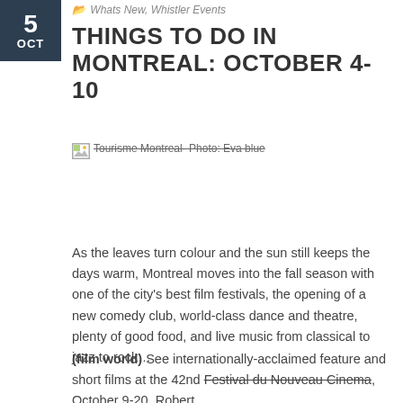Whats New, Whistler Events
THINGS TO DO IN MONTREAL: OCTOBER 4-10
[Figure (photo): Tourisme Montreal - Photo: Eva blue (broken image placeholder with alt text)]
As the leaves turn colour and the sun still keeps the days warm, Montreal moves into the fall season with one of the city’s best film festivals, the opening of a new comedy club, world-class dance and theatre, plenty of good food, and live music from classical to jazz to rock…
(film world) See internationally-acclaimed feature and short films at the 42nd Festival du Nouveau Cinema, October 9-20. Robert